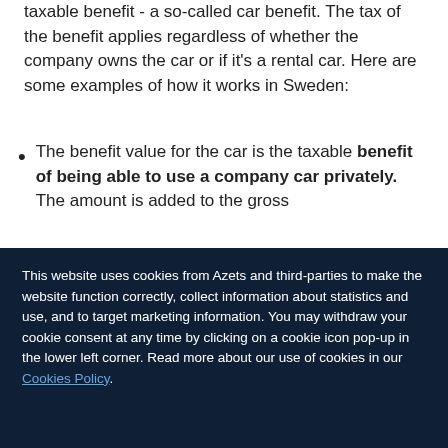taxable benefit - a so-called car benefit. The tax of the benefit applies regardless of whether the company owns the car or if it's a rental car. Here are some examples of how it works in Sweden:
The benefit value for the car is the taxable benefit of being able to use a company car privately. The amount is added to the gross
This website uses cookies from Azets and third-parties to make the website function correctly, collect information about statistics and use, and to target marketing information. You may withdraw your cookie consent at any time by clicking on a cookie icon pop-up in the lower left corner. Read more about our use of cookies in our Cookies Policy.